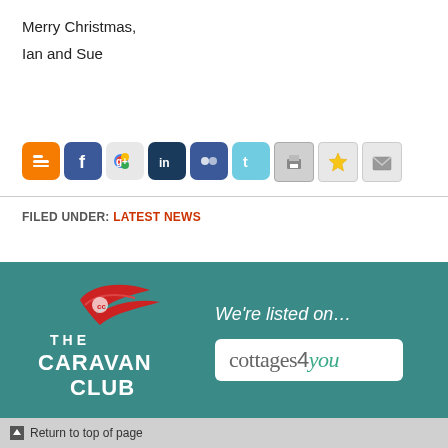Merry Christmas,
Ian and Sue
[Figure (infographic): Row of social sharing icon buttons: Blogger (orange), Facebook (blue), Google+ (colorful circle), LinkedIn (dark blue), MySpace (blue), Twitter (light blue), Print (gray), Favorites star (yellow), Email (gray)]
FILED UNDER: LATEST NEWS
[Figure (logo): The Caravan Club logo - red bird/wing shape with white text 'THE CARAVAN CLUB' on teal background]
We're listed on…
[Figure (logo): cottages4you logo in white box with gray and teal text]
Return to top of page